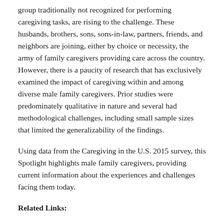group traditionally not recognized for performing caregiving tasks, are rising to the challenge. These husbands, brothers, sons, sons-in-law, partners, friends, and neighbors are joining, either by choice or necessity, the army of family caregivers providing care across the country. However, there is a paucity of research that has exclusively examined the impact of caregiving within and among diverse male family caregivers. Prior studies were predominately qualitative in nature and several had methodological challenges, including small sample sizes that limited the generalizability of the findings.
Using data from the Caregiving in the U.S. 2015 survey, this Spotlight highlights male family caregivers, providing current information about the experiences and challenges facing them today.
Related Links: